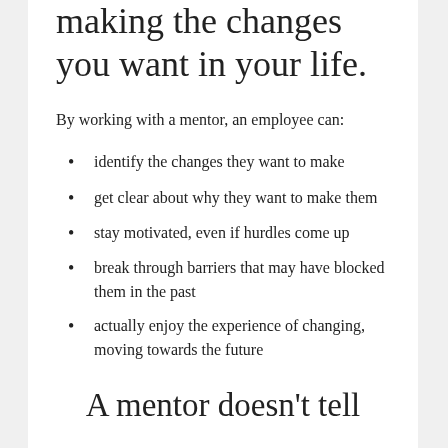making the changes you want in your life.
By working with a mentor, an employee can:
identify the changes they want to make
get clear about why they want to make them
stay motivated, even if hurdles come up
break through barriers that may have blocked them in the past
actually enjoy the experience of changing, moving towards the future
A mentor doesn't tell